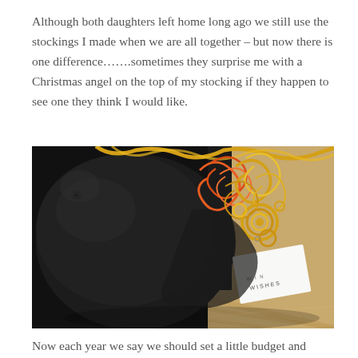Although both daughters left home long ago we still use the stockings I made when we are all together – but now there is one difference…….sometimes they surprise me with a Christmas angel on the top of my stocking if they happen to see one they think I would like.
[Figure (photo): A black fabric gift bag/stocking on a wooden floor surface, decorated with gold and orange curled ribbon, with a white gift tag that reads 'WISHES'.]
Now each year we say we should set a little budget and